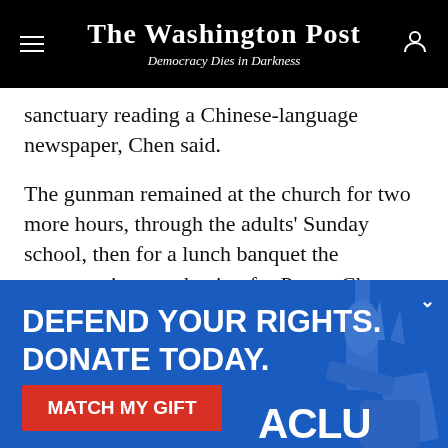The Washington Post — Democracy Dies in Darkness
sanctuary reading a Chinese-language newspaper, Chen said.
The gunman remained at the church for two more hours, through the adults' Sunday school, then for a lunch banquet the congregation was having for Pastor Chang inside Simpson Hall, a section of the church.
Police later said it was unclear if Chou shared a meal
[Figure (infographic): ACLU advertisement banner with blue background. Bold white text reads DEFEND YOUR RIGHTS. DONATE TODAY. Red button with white text MATCH MY GIFT. ACLU logo in white. Partial image of Statue of Liberty torch on the right. Chevron/close button top right.]